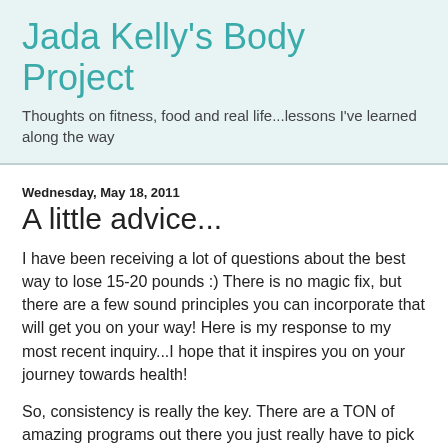Jada Kelly's Body Project
Thoughts on fitness, food and real life...lessons I've learned along the way
Wednesday, May 18, 2011
A little advice...
I have been receiving a lot of questions about the best way to lose 15-20 pounds :) There is no magic fix, but there are a few sound principles you can incorporate that will get you on your way! Here is my response to my most recent inquiry...I hope that it inspires you on your journey towards health!
So, consistency is really the key. There are a TON of amazing programs out there you just really have to pick one and stick with it. Give yourself at east 12 weeks on one program before you give up or move on. You say you have